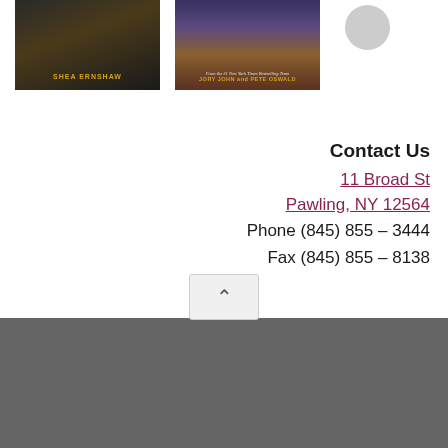[Figure (photo): Book cover for a novel by Shea Ernshaw, dark moody design with author name at bottom in gold text]
[Figure (photo): Book cover with stacked books design, authors Jory John and Pete Oswald, New York Times bestselling team]
[Figure (photo): Partial view of a circular emblem or seal, light gray]
Contact Us
11 Broad St
Pawling, NY 12564
Phone (845) 855 – 3444
Fax (845) 855 – 8138